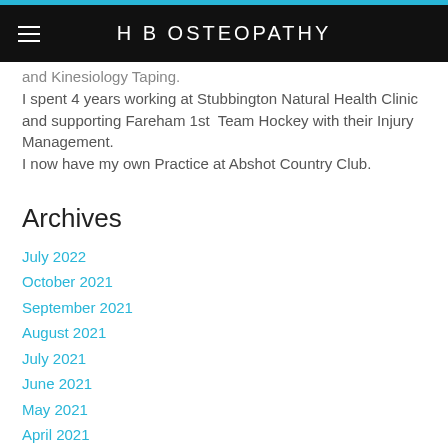H B OSTEOPATHY
and Kinesiology Taping.
I spent 4 years working at Stubbington Natural Health Clinic and supporting Fareham 1st Team Hockey with their Injury Management.
I now have my own Practice at Abshot Country Club.
Archives
July 2022
October 2021
September 2021
August 2021
July 2021
June 2021
May 2021
April 2021